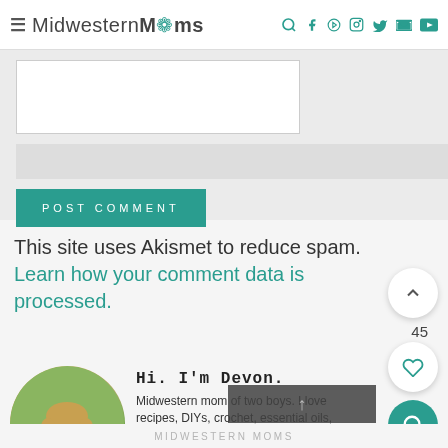MidwesternMoms
[Figure (screenshot): Comment form area with white text input box and teal POST COMMENT button on grey background]
This site uses Akismet to reduce spam. Learn how your comment data is processed.
[Figure (photo): Circular profile photo of Devon, a woman with shoulder-length blonde hair smiling outdoors with trees in background]
Hi. I'm Devon.
Midwestern mom of two boys. I love recipes, DIYs, crochet, essential oils, and coffee!
READ MORE ABOUT MIDWESTERN MOMS